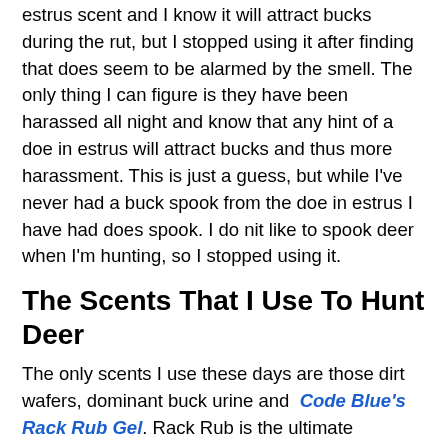estrus scent and I know it will attract bucks during the rut, but I stopped using it after finding that does seem to be alarmed by the smell. The only thing I can figure is they have been harassed all night and know that any hint of a doe in estrus will attract bucks and thus more harassment. This is just a guess, but while I've never had a buck spook from the doe in estrus I have had does spook. I do nit like to spook deer when I'm hunting, so I stopped using it.
The Scents That I Use To Hunt Deer
The only scents I use these days are those dirt wafers, dominant buck urine and Code Blue's Rack Rub Gel. Rack Rub is the ultimate forehead gland and preorbital scent for stimulating rub activity. I smear it on a licking branch above mock scrapes. This is the only scent, along with dominant buck urine in the scrape, that has consistently attracted bucks during the day. I have killed my three biggest bucks after creating mock scrapes and adding this Rack Rub above it. Over the years after using about every scent on the market as well as harvested glands and urine from deer that I have killed I've settled on these three scents. I have been